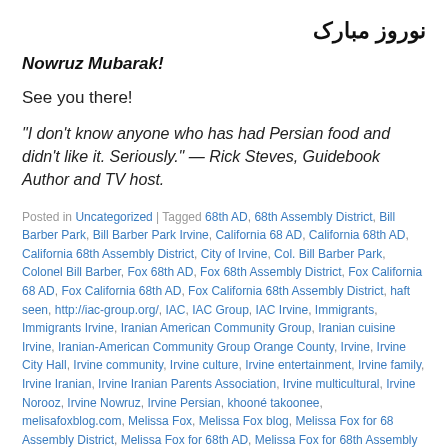نوروز مبارک
Nowruz Mubarak!
See you there!
“I don’t know anyone who has had Persian food and didn’t like it. Seriously.” — Rick Steves, Guidebook Author and TV host.
Posted in Uncategorized | Tagged 68th AD, 68th Assembly District, Bill Barber Park, Bill Barber Park Irvine, California 68 AD, California 68th AD, California 68th Assembly District, City of Irvine, Col. Bill Barber Park, Colonel Bill Barber, Fox 68th AD, Fox 68th Assembly District, Fox California 68 AD, Fox California 68th AD, Fox California 68th Assembly District, haft seen, http://iac-group.org/, IAC, IAC Group, IAC Irvine, Immigrants, Immigrants Irvine, Iranian American Community Group, Iranian cuisine Irvine, Iranian-American Community Group Orange County, Irvine, Irvine City Hall, Irvine community, Irvine culture, Irvine entertainment, Irvine family, Irvine Iranian, Irvine Iranian Parents Association, Irvine multicultural, Irvine Norooz, Irvine Nowruz, Irvine Persian, khooné takoonee, melisafoxblog.com, Melissa Fox, Melissa Fox blog, Melissa Fox for 68 Assembly District, Melissa Fox for 68th AD, Melissa Fox for 68th Assembly District, Melissa Fox for Irvine, Melissa Fox for State Assembly, Melissa Fox Irvine, melissafoxblog, melissafoxblog.com, melissajoifox, NEDA Iranian Senior